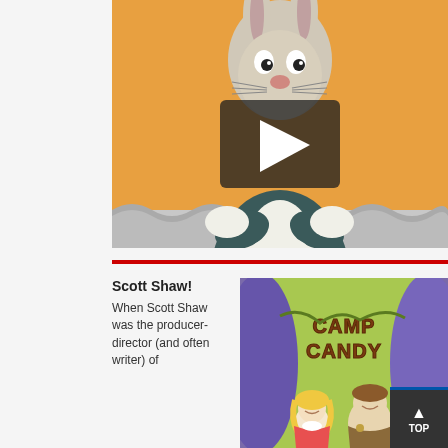[Figure (screenshot): Video thumbnail showing Bugs Bunny cartoon character with arms crossed, standing in front of an orange background with a wavy patterned floor. A YouTube-style play button overlay is centered on the image.]
[Figure (illustration): Camp Candy cartoon title card showing the text 'CAMP CANDY' in brown letters against a green background, with cartoon characters including a blonde girl and a brown-haired man in a camp counselor uniform.]
Scott Shaw!
When Scott Shaw was the producer-director (and often writer) of